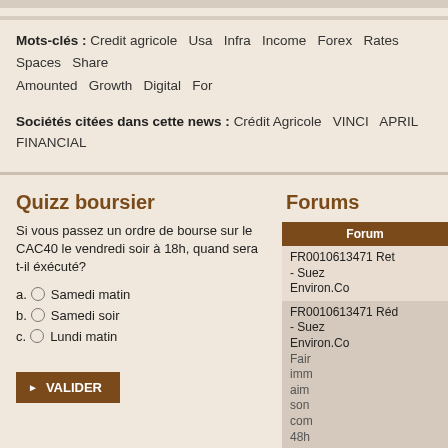Mots-clés : Credit agricole  Usa  Infra  Income  Forex  Rates  Spaces  Share  Amounted  Growth  Digital  For
Sociétés citées dans cette news : Crédit Agricole  VINCI  APRIL  FINANCIAL
Quizz boursier
Si vous passez un ordre de bourse sur le CAC40 le vendredi soir à 18h, quand sera t-il éxécuté?
a. Samedi matin
b. Samedi soir
c. Lundi matin
Forums
| Forum |
| --- |
| FR0010613471 Ret... - Suez Environ.Co |
| FR0010613471 Réd... - Suez Environ.Co | Fair imm aim son com 48h |
| FR0010613471 RIT DU - Suez Environ.Co | MAI SOR |